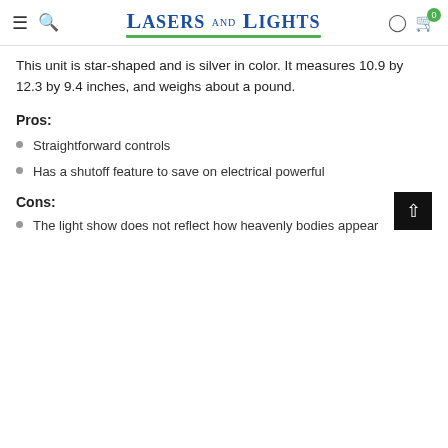Lasers and Lights
This unit is star-shaped and is silver in color. It measures 10.9 by 12.3 by 9.4 inches, and weighs about a pound.
Pros:
Straightforward controls
Has a shutoff feature to save on electrical powerful
Cons:
The light show does not reflect how heavenly bodies appear